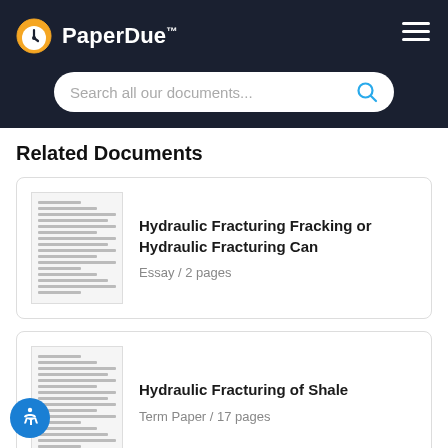PaperDue™ — Search all our documents...
Related Documents
Hydraulic Fracturing Fracking or Hydraulic Fracturing Can
Essay / 2 pages
Hydraulic Fracturing of Shale
Term Paper / 17 pages